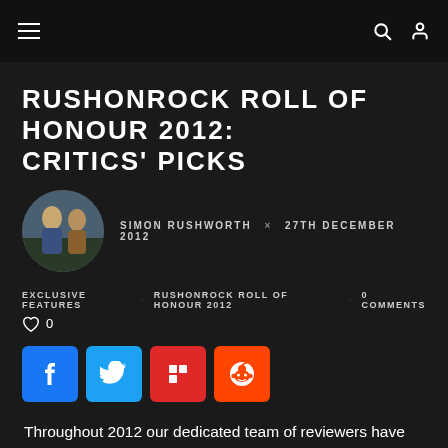≡   🔍 👤
RUSHONROCK ROLL OF HONOUR 2012: CRITICS' PICKS
SIMON RUSHWORTH × 27TH DECEMBER 2012
EXCLUSIVE FEATURES   RUSHONROCK ROLL OF HONOUR 2012   0 COMMENTS
♡ 0
[Figure (logo): Social share buttons: Facebook, Twitter, Flipboard, Reddit]
Throughout 2012 our dedicated team of reviewers have delivered the key verdicts first on the very best albums and gigs of the year.
So settle down and compare your